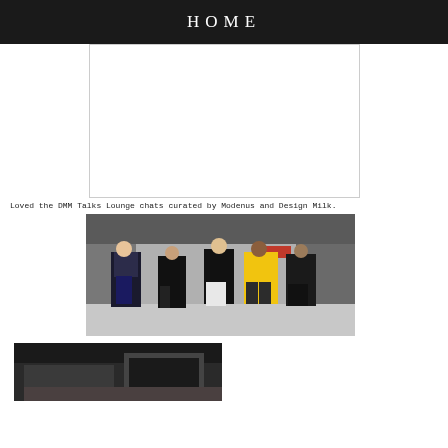HOME
[Figure (photo): Advertisement or image placeholder - white rectangle with border]
Loved the DMM Talks Lounge chats curated by Modenus and Design Milk.
[Figure (photo): Group photo of five women standing together at an event/trade show, one wearing a yellow blazer]
[Figure (photo): Interior photo of a showroom or exhibition space with dark tones]